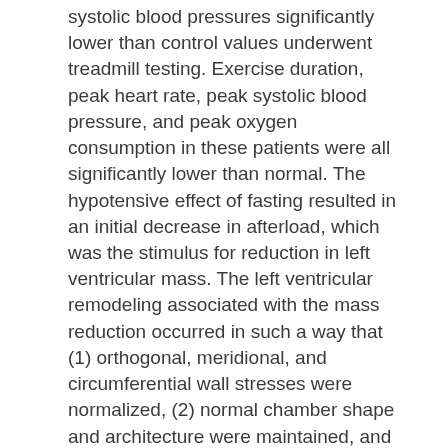systolic blood pressures significantly lower than control values underwent treadmill testing. Exercise duration, peak heart rate, peak systolic blood pressure, and peak oxygen consumption in these patients were all significantly lower than normal. The hypotensive effect of fasting resulted in an initial decrease in afterload, which was the stimulus for reduction in left ventricular mass. The left ventricular remodeling associated with the mass reduction occurred in such a way that (1) orthogonal, meridional, and circumferential wall stresses were normalized, (2) normal chamber shape and architecture were maintained, and (3) chamber function and stress-shortening relationships were preserved. Thus down-regulation of left ventricular